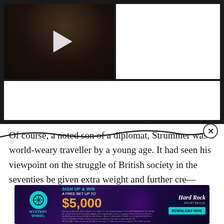[Figure (screenshot): Embedded video player with dark background showing a person with long dark hair. A white play button triangle is visible in the center of the thumbnail. The player has a dark border/frame around it with white space on the right and bottom portions.]
Of course, a noted son of a diplomat, Strummer was a world-weary traveller by a young age. It had seen his viewpoint on the struggle of British society in the seventies be given extra weight and further cre—
[Figure (screenshot): Hard Rock Sportsbook advertisement banner. Shows Mystery Wheel logo on left, 'SIGN UP & WIN A FREE BET UP TO $5,000' text in center, and 'DOWNLOAD NOW' button on right with Hard Rock Sportsbook branding. Purple/neon color scheme with fine print at bottom.]